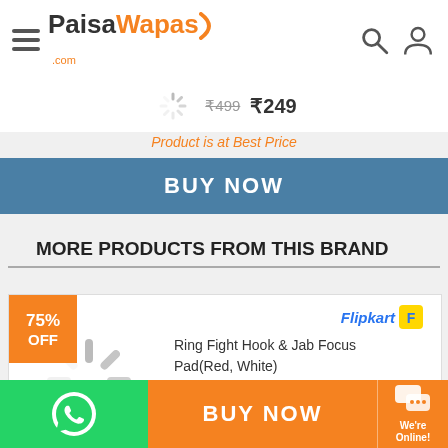PaisaWapas.com
Product is at Best Price
BUY NOW
MORE PRODUCTS FROM THIS BRAND
[Figure (screenshot): Product card showing Ring Fight Hook & Jab Focus Pad (Red, White) with 75% OFF badge, Flipkart logo, loading spinner image, Price ₹2000 struck through and ₹499]
BUY NOW